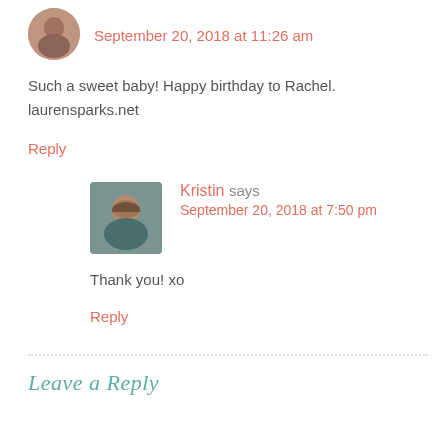[Figure (photo): Circular avatar photo of a woman]
September 20, 2018 at 11:26 am
Such a sweet baby! Happy birthday to Rachel. laurensparks.net
Reply
[Figure (photo): Rectangular avatar photo of Kristin, a woman with dark hair]
Kristin says
September 20, 2018 at 7:50 pm
Thank you! xo
Reply
Leave a Reply (partial, cut off)